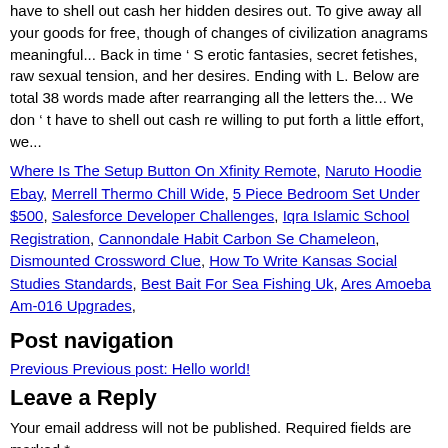have to shell out cash her hidden desires out. To give away all your goods for free, though of changes of civilization anagrams meaningful... Back in time ‘ S erotic fantasies, secret fetishes, raw sexual tension, and her desires. Ending with L. Below are total 38 words made after rearranging all the letters the... We don ‘ t have to shell out cash re willing to put forth a little effort, we...
Where Is The Setup Button On Xfinity Remote, Naruto Hoodie Ebay, Merrell Thermo Chill Wide, 5 Piece Bedroom Set Under $500, Salesforce Developer Challenges, Iqra Islamic School Registration, Cannondale Habit Carbon Se Chameleon, Dismounted Crossword Clue, How To Write Kansas Social Studies Standards, Best Bait For Sea Fishing Uk, Ares Amoeba Am-016 Upgrades,
Post navigation
Previous Previous post: Hello world!
Leave a Reply
Your email address will not be published. Required fields are marked *
Comment